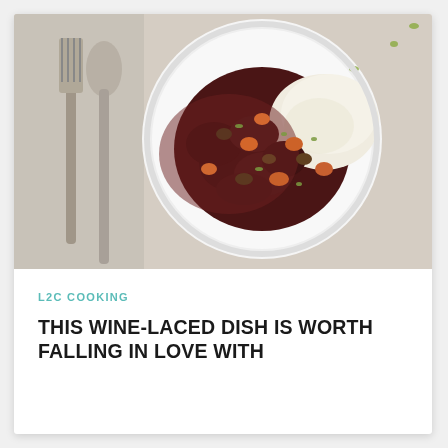[Figure (photo): Overhead photo of a white bowl containing a dark red wine-braised beef stew with carrots, mushrooms, and herbs, served alongside creamy mashed potatoes. A silver fork and spoon are visible to the left on a light linen background.]
L2C COOKING
THIS WINE-LACED DISH IS WORTH FALLING IN LOVE WITH